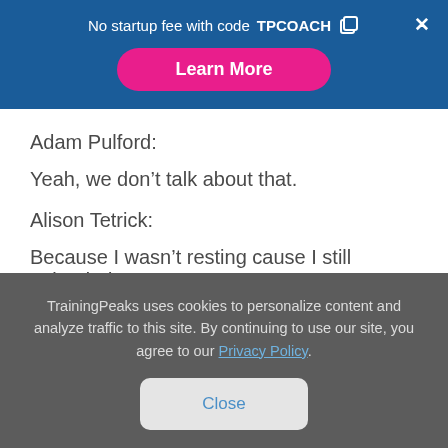No startup fee with code TPCOACH
Learn More
Adam Pulford:
Yeah, we don't talk about that.
Alison Tetrick:
Because I wasn't resting cause I still uploaded
TrainingPeaks uses cookies to personalize content and analyze traffic to this site. By continuing to use our site, you agree to our Privacy Policy.
Close